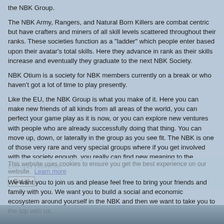the NBK Group.
The NBK Army, Rangers, and Natural Born Killers are combat centric but have crafters and miners of all skill levels scattered throughout their ranks. These societies function as a "ladder" which people enter based upon their avatar's total skills. Here they advance in rank as their skills increase and eventually they graduate to the next NBK Society.
NBK Otium is a society for NBK members currently on a break or who haven't got a lot of time to play presently.
Like the EU, the NBK Group is what you make of it. Here you can make new friends of all kinds from all areas of the world, you can perfect your game play as it is now, or you can explore new ventures with people who are already successfully doing that thing. You can move up, down, or laterally in the group as you see fit. The NBK is one of those very rare and very special groups where if you get involved with the society enough, you really can find new meaning to the Entropia Universe.
We want you to join us and please feel free to bring your friends and family with you. We want you to build a social and economic ecosystem around yourself in the NBK and then we want to take you to the top with us.